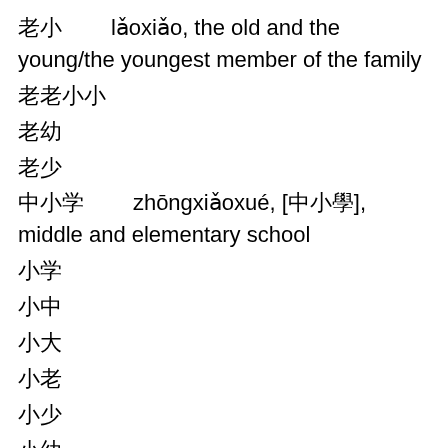老小        lǎoxiǎo, the old and the young/the youngest member of the family
老老小小
老幼
老少
中小学        zhōngxiǎoxué, [中小學], middle and elementary school
小学
小中
小大
小老
小少
小幼
小小学
小中学
小老
小小中